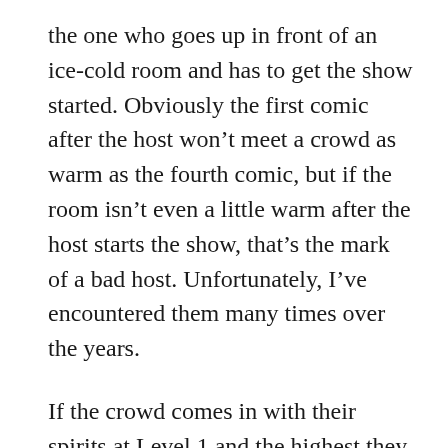the one who goes up in front of an ice-cold room and has to get the show started. Obviously the first comic after the host won't meet a crowd as warm as the fourth comic, but if the room isn't even a little warm after the host starts the show, that's the mark of a bad host. Unfortunately, I've encountered them many times over the years.
If the crowd comes in with their spirits at Level 1 and the highest they can reach is Level 10, then every host should feel they're responsible for getting them to Level 4 and never letting them drop below that. If the room is warm but then a comic eats shit, the host should bring the room back up before introducing the next comic. If a